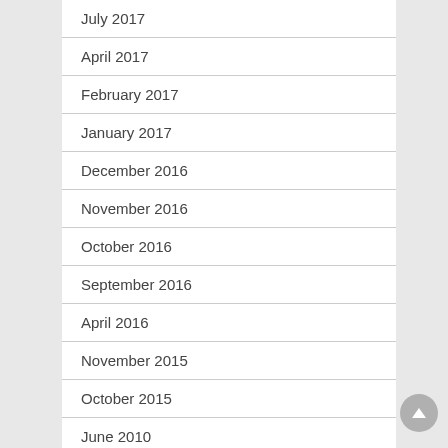July 2017
April 2017
February 2017
January 2017
December 2016
November 2016
October 2016
September 2016
April 2016
November 2015
October 2015
June 2010